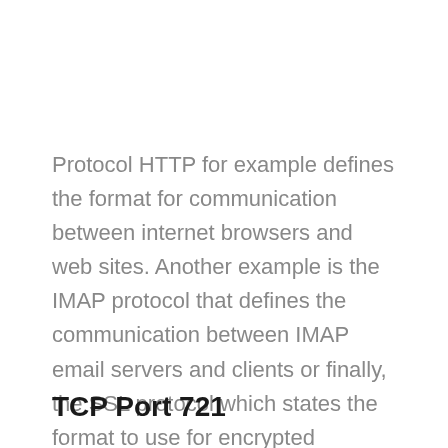Protocol HTTP for example defines the format for communication between internet browsers and web sites. Another example is the IMAP protocol that defines the communication between IMAP email servers and clients or finally, the SSL protocol which states the format to use for encrypted communications.
TCP Port 721